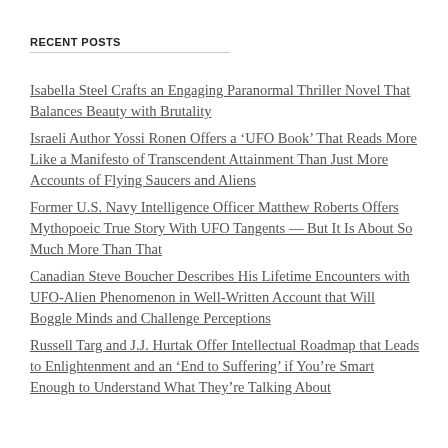RECENT POSTS
Isabella Steel Crafts an Engaging Paranormal Thriller Novel That Balances Beauty with Brutality
Israeli Author Yossi Ronen Offers a ‘UFO Book’ That Reads More Like a Manifesto of Transcendent Attainment Than Just More Accounts of Flying Saucers and Aliens
Former U.S. Navy Intelligence Officer Matthew Roberts Offers Mythopoeic True Story With UFO Tangents — But It Is About So Much More Than That
Canadian Steve Boucher Describes His Lifetime Encounters with UFO-Alien Phenomenon in Well-Written Account that Will Boggle Minds and Challenge Perceptions
Russell Targ and J.J. Hurtak Offer Intellectual Roadmap that Leads to Enlightenment and an ‘End to Suffering’ if You’re Smart Enough to Understand What They’re Talking About